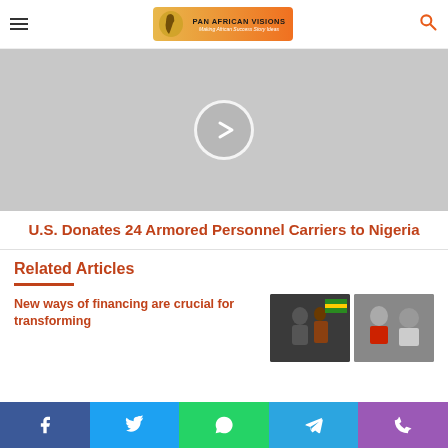Pan African Visions
[Figure (photo): Gray placeholder hero image with a circular play/next button in the center]
U.S. Donates 24 Armored Personnel Carriers to Nigeria
Related Articles
New ways of financing are crucial for transforming
[Figure (photo): Two thumbnail photos of people at an event, partially visible at bottom of page]